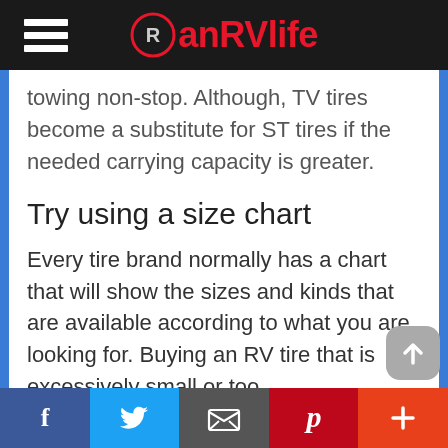anRVlife
towing non-stop. Although, TV tires become a substitute for ST tires if the needed carrying capacity is greater.
Try using a size chart
Every tire brand normally has a chart that will show the sizes and kinds that are available according to what you are looking for. Buying an RV tire that is excessively small or too